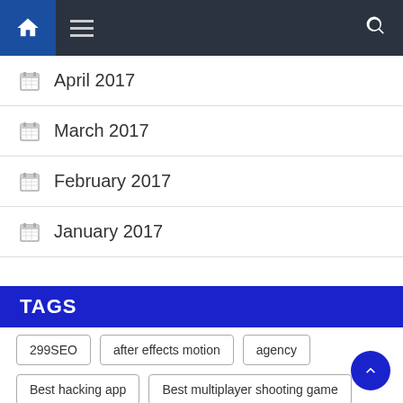Navigation bar with home icon, menu, and search
April 2017
March 2017
February 2017
January 2017
TAGS
299SEO
after effects motion
agency
Best hacking app
Best multiplayer shooting game
Blocked Sites can be Accessed
business
Cleaner Android
Clean Master